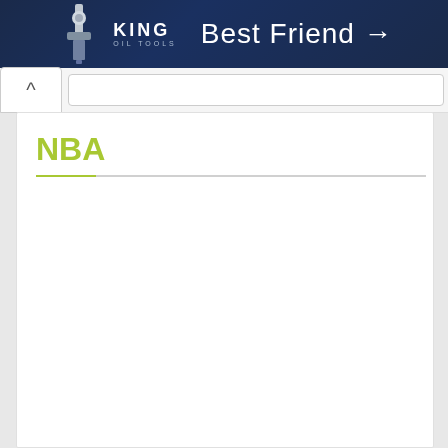[Figure (illustration): Dark blue advertisement banner for King Oil Tools showing a tool image on the left, KING OIL TOOLS text in the center-left, and 'Best Friend →' text on the right]
Navigation bar with back button (^) and URL bar
NBA